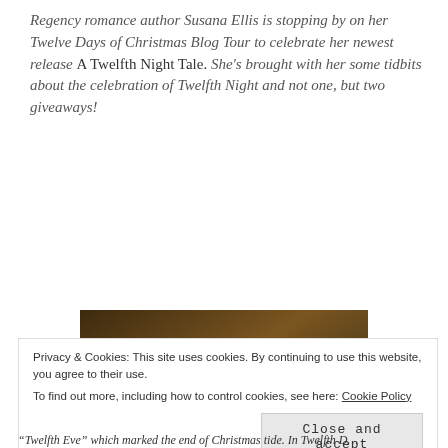Regency romance author Susana Ellis is stopping by on her Twelve Days of Christmas Blog Tour to celebrate her newest release A Twelfth Night Tale. She's brought with her some tidbits about the celebration of Twelfth Night and not one, but two giveaways!
[Figure (photo): Group of people wearing ornate Venetian masquerade masks in gold, red, and white, dressed in period costumes against a muted indoor background.]
Privacy & Cookies: This site uses cookies. By continuing to use this website, you agree to their use. To find out more, including how to control cookies, see here: Cookie Policy
Close and accept
“Twelfth Eve” which marked the end of Christmas tide. In Twelfth D...